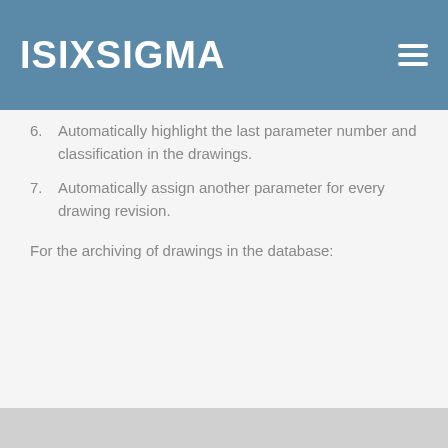ISIXSIGMA
6. Automatically highlight the last parameter number and classification in the drawings.
7. Automatically assign another parameter for every drawing revision.
For the archiving of drawings in the database: